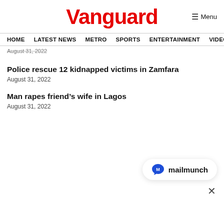Vanguard
HOME  LATEST NEWS  METRO  SPORTS  ENTERTAINMENT  VIDEOS
August 31, 2022
Police rescue 12 kidnapped victims in Zamfara
August 31, 2022
Man rapes friend’s wife in Lagos
August 31, 2022
[Figure (logo): Mailmunch logo with text mailmunch in a rounded pill widget]
×